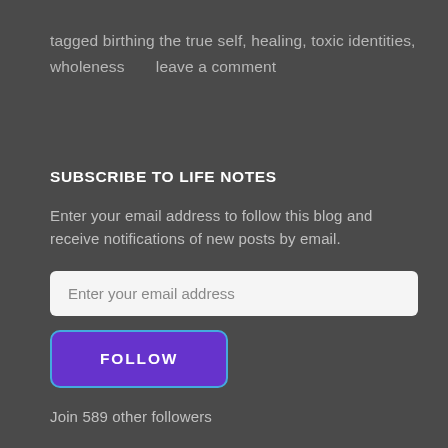tagged birthing the true self, healing, toxic identities, wholeness      leave a comment
SUBSCRIBE TO LIFE NOTES
Enter your email address to follow this blog and receive notifications of new posts by email.
Enter your email address
FOLLOW
Join 589 other followers